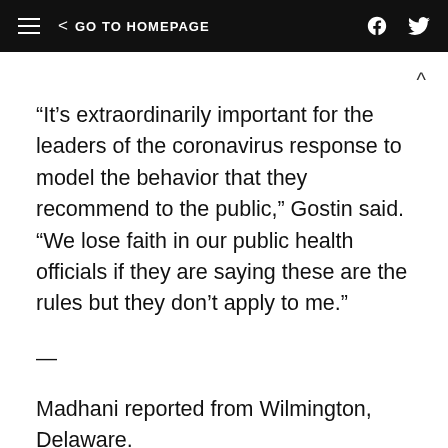≡  < GO TO HOMEPAGE
“It’s extraordinarily important for the leaders of the coronavirus response to model the behavior that they recommend to the public,” Gostin said. “We lose faith in our public health officials if they are saying these are the rules but they don’t apply to me.”
—
Madhani reported from Wilmington, Delaware.
BEFORE YOU GO